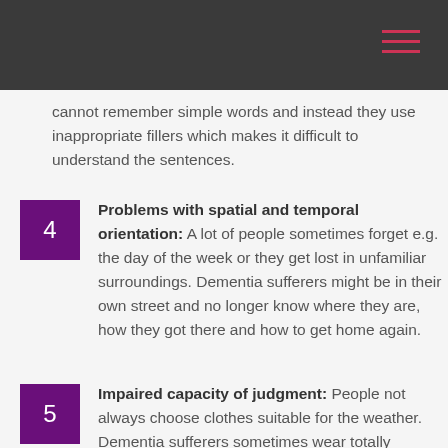cannot remember simple words and instead they use inappropriate fillers which makes it difficult to understand the sentences.
Problems with spatial and temporal orientation: A lot of people sometimes forget e.g. the day of the week or they get lost in unfamiliar surroundings. Dementia sufferers might be in their own street and no longer know where they are, how they got there and how to get home again.
Impaired capacity of judgment: People not always choose clothes suitable for the weather. Dementia sufferers sometimes wear totally inappropriate clothes. For